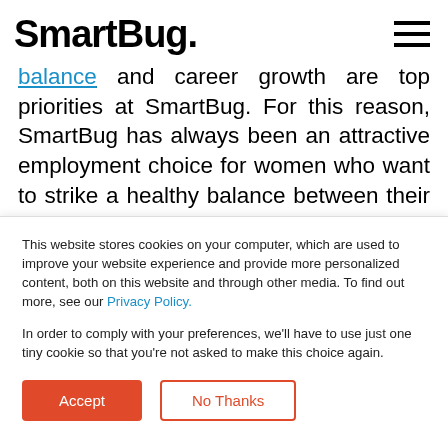SmartBug.
balance and career growth are top priorities at SmartBug. For this reason, SmartBug has always been an attractive employment choice for women who want to strike a healthy balance between their career aspirations and their personal lives. Currently, more than half of the company's leadership roles are held by
This website stores cookies on your computer, which are used to improve your website experience and provide more personalized content, both on this website and through other media. To find out more, see our Privacy Policy.
In order to comply with your preferences, we'll have to use just one tiny cookie so that you're not asked to make this choice again.